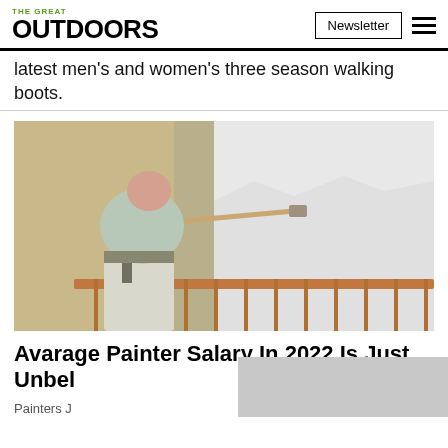THE GREAT OUTDOORS | Newsletter
latest men's and women's three season walking boots.
[Figure (photo): A painter with a paint roller painting a wall white inside a room with tan/brown walls and a railing in the foreground.]
Avarage Painter Salary In 2022 Is Just Unbel
Painters J